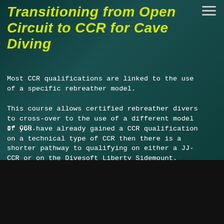Transitioning from Open Circuit to CCR for Cave Diving
Most CCR qualifications are linked to the use of a specific rebreather model.
This course allows certified rebreather divers to cross-over to the use of a different model of CCR.
If you have already gained a CCR qualification on a technical type of CCR then there is a shorter pathway to qualifying on either a JJ-CCR or on the Divesoft Liberty Sidemount.
Welcome to the Dark Side, we have cookies.
Cookie Settings
Accept All